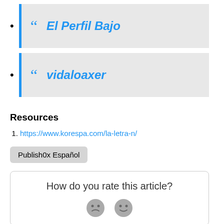El Perfil Bajo
vidaloaxer
Resources
https://www.korespa.com/la-letra-n/
Publish0x Español
How do you rate this article?